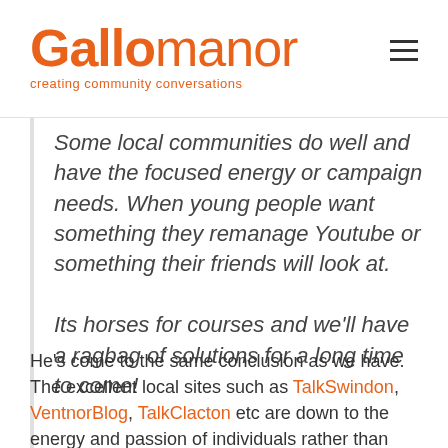Gallomanor — creating community conversations
Some local communities do well and have the focused energy or campaign needs. When young people want something they remanage Youtube or something their friends will look at.

Its horses for courses and we'll have a ragbag of solutions for a long time to come!
He's come to the same conclusion as we have. The excellent local sites such as TalkSwindon, VentnorBlog, TalkClacton etc are down to the energy and passion of individuals rather than